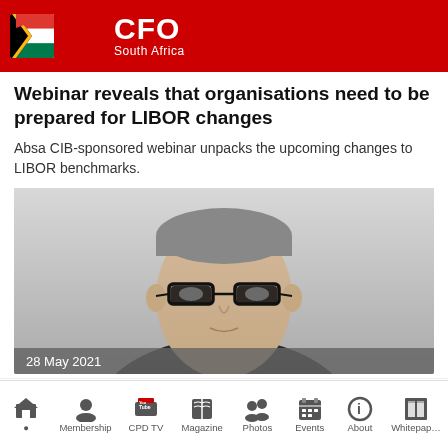CFO South Africa
Webinar reveals that organisations need to be prepared for LIBOR changes
Absa CIB-sponsored webinar unpacks the upcoming changes to LIBOR benchmarks.
[Figure (photo): Headshot of a middle-aged man with grey hair and dark-rimmed glasses wearing a dark suit jacket, against a light background. Date overlay: 28 May 2021]
28 May 2021
Mediclinic in a strong position despite Covid-19
Home  Membership  CPD TV  Magazine  Photos  Events  About  Whitepaper